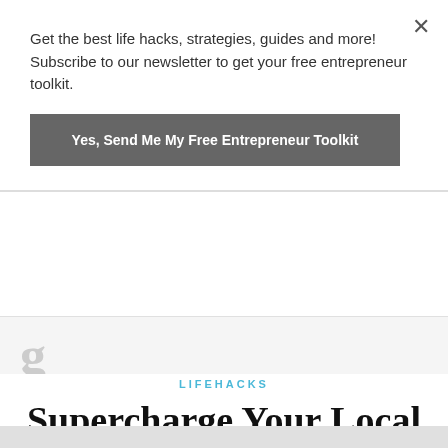Get the best life hacks, strategies, guides and more! Subscribe to our newsletter to get your free entrepreneur toolkit.
Yes, Send Me My Free Entrepreneur Toolkit
LIFEHACKS
Supercharge Your Local Business with These 3 Strategies
Jul 12,2017 / By Khris Chua / No Comment